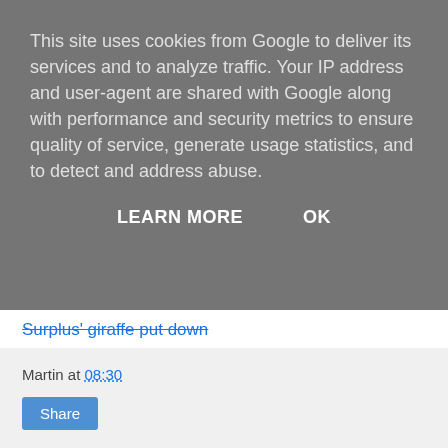This site uses cookies from Google to deliver its services and to analyze traffic. Your IP address and user-agent are shared with Google along with performance and security metrics to ensure quality of service, generate usage statistics, and to detect and address abuse.
LEARN MORE   OK
Surplus' giraffe put down
Texas executes female murderer Suzanne Basso
Tim McLafferty lives in NYC and is the poetry editor at Forge Journal. His poems have appeared in Assisi, Barrow Street, Painted Bride Quarterly, Pearl, Portland Review and elsewhere. timmclafferty.com
Martin at 08:30
Share